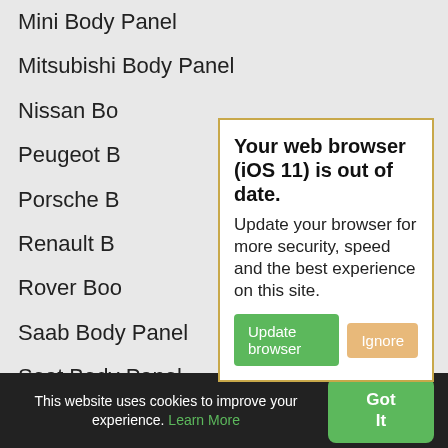Mini Body Panel
Mitsubishi Body Panel
Nissan Bo…
Peugeot B…
Porsche B…
Renault B…
Rover Boo…
Saab Body Panel
Seat Body Panel
Skoda Body Panel
Smart Body Panel
Ssangyong Body Panel
Subaru Body Panel
[Figure (screenshot): Browser update warning popup with title 'Your web browser (iOS 11) is out of date.' and buttons 'Update browser' and 'Ignore']
This website uses cookies to improve your experience. Learn More